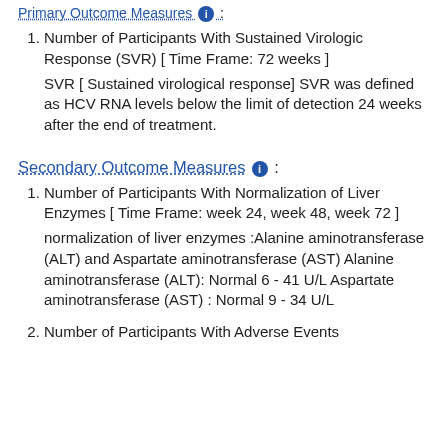Primary Outcome Measures ℹ :
Number of Participants With Sustained Virologic Response (SVR) [ Time Frame: 72 weeks ]
SVR [ Sustained virological response] SVR was defined as HCV RNA levels below the limit of detection 24 weeks after the end of treatment.
Secondary Outcome Measures ℹ :
Number of Participants With Normalization of Liver Enzymes [ Time Frame: week 24, week 48, week 72 ]
normalization of liver enzymes :Alanine aminotransferase (ALT) and Aspartate aminotransferase (AST) Alanine aminotransferase (ALT): Normal 6 - 41 U/L Aspartate aminotransferase (AST) : Normal 9 - 34 U/L
Number of Participants With Adverse Events